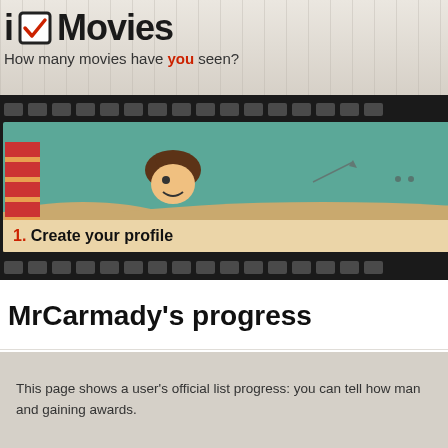i Movies – How many movies have you seen?
[Figure (illustration): Film strip showing two frames: Frame 1 with cartoon character peeking over sand dunes and a robot, labeled '1. Create your profile'; Frame 2 with pirate character, labeled '2. Watch lots of mo...']
MrCarmady's progress
This page shows a user's official list progress: you can tell how many movies they have seen and gaining awards.